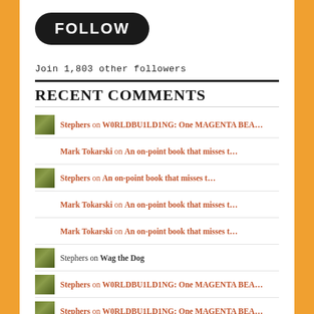[Figure (other): FOLLOW button — dark rounded pill shape with white bold text]
Join 1,803 other followers
RECENT COMMENTS
Stephers on W0RLDBU1LD1NG: One MAGENTA BEA…
Mark Tokarski on An on-point book that misses t…
Stephers on An on-point book that misses t…
Mark Tokarski on An on-point book that misses t…
Mark Tokarski on An on-point book that misses t…
Stephers on Wag the Dog
Stephers on W0RLDBU1LD1NG: One MAGENTA BEA…
Stephers on W0RLDBU1LD1NG: One MAGENTA BEA…